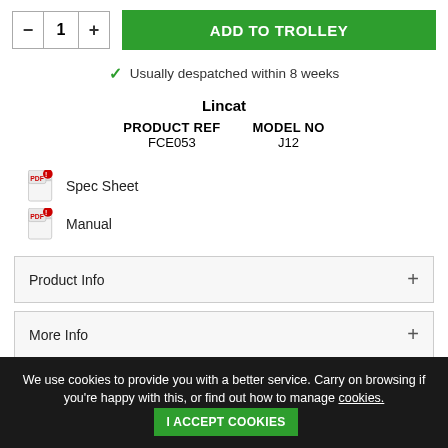[Figure (screenshot): Quantity selector with minus, 1, plus buttons and green ADD TO TROLLEY button]
✓ Usually despatched within 8 weeks
Lincat
| PRODUCT REF | MODEL NO |
| --- | --- |
| FCE053 | J12 |
Spec Sheet
Manual
Product Info +
More Info +
We use cookies to provide you with a better service. Carry on browsing if you're happy with this, or find out how to manage cookies. I ACCEPT COOKIES